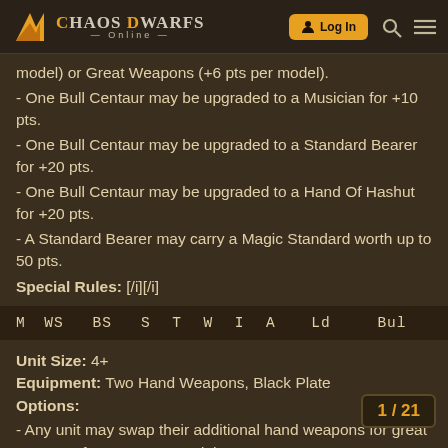Chaos Dwarfs Online — Log In
model) or Great Weapons (+6 pts per model).
- One Bull Centaur may be upgraded to a Musician for +10 pts.
- One Bull Centaur may be upgraded to a Standard Bearer for +20 pts.
- One Bull Centaur may be upgraded to a Hand Of Hashut for +20 pts.
- A Standard Bearer may carry a Magic Standard worth up to 50 pts.
Special Rules: [/i][/i]
| M | WS | BS | S | T | W | I | A | Ld | Bul |
| --- | --- | --- | --- | --- | --- | --- | --- | --- | --- |
Unit Size: 4+
Equipment: Two Hand Weapons, Black Plate
Options:
- Any unit may swap their additional hand weapons for great weapons for +2pts per model.
1 / 21